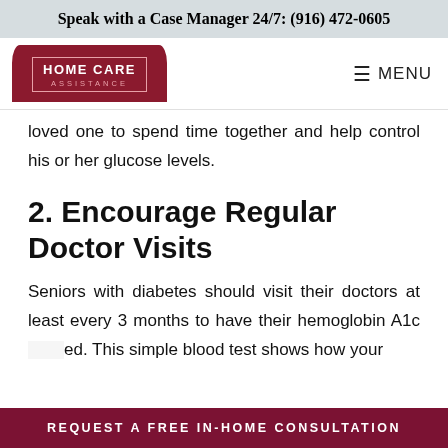Speak with a Case Manager 24/7: (916) 472-0605
loved one to spend time together and help control his or her glucose levels.
2. Encourage Regular Doctor Visits
Seniors with diabetes should visit their doctors at least every 3 months to have their hemoglobin A1c ed. This simple blood test shows how your
REQUEST A FREE IN-HOME CONSULTATION